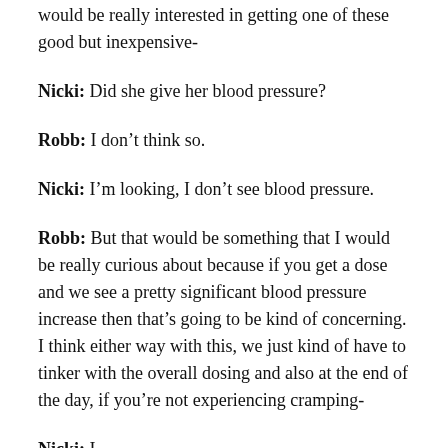would be really interested in getting one of these good but inexpensive-
Nicki: Did she give her blood pressure?
Robb: I don't think so.
Nicki: I'm looking, I don't see blood pressure.
Robb: But that would be something that I would be really curious about because if you get a dose and we see a pretty significant blood pressure increase then that's going to be kind of concerning. I think either way with this, we just kind of have to tinker with the overall dosing and also at the end of the day, if you're not experiencing cramping-
Nicki: I...